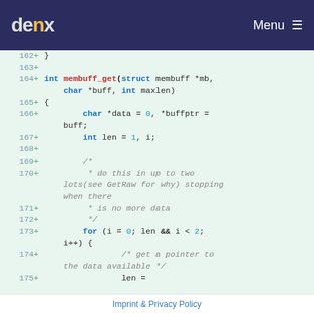denx  Menu
[Figure (screenshot): Code diff view showing lines 162-175 of a C source file with added lines (+) highlighted on a light green background. Code shows membuff_get function definition with char and int variable declarations, a comment block about doing operations in up to two lots, and a for loop.]
Imprint & Privacy Policy